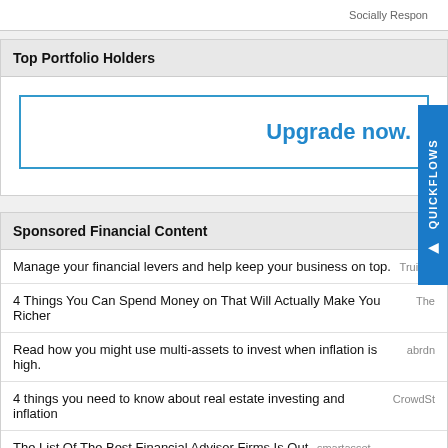Top Portfolio Holders
Upgrade now.
Sponsored Financial Content
Manage your financial levers and help keep your business on top. Truist
4 Things You Can Spend Money on That Will Actually Make You Richer The
Read how you might use multi-assets to invest when inflation is high. abrdn
4 things you need to know about real estate investing and inflation CrowdSt
The List Of The Best Financial Advisor Firms Is Out smartasset